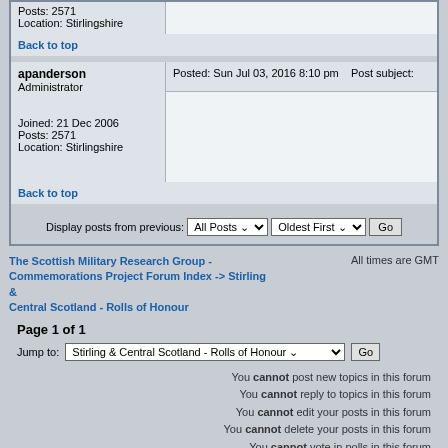Posts: 2571
Location: Stirlingshire
Back to top
apanderson
Administrator
Joined: 21 Dec 2006
Posts: 2571
Location: Stirlingshire
Posted: Sun Jul 03, 2016 8:10 pm    Post subject:
Back to top
Display posts from previous: All Posts  Oldest First  Go
The Scottish Military Research Group - Commemorations Project Forum Index -> Stirling & Central Scotland - Rolls of Honour
All times are GMT
Page 1 of 1
Jump to: Stirling & Central Scotland - Rolls of Honour  Go
You cannot post new topics in this forum
You cannot reply to topics in this forum
You cannot edit your posts in this forum
You cannot delete your posts in this forum
You cannot vote in polls in this forum
Powered by phpBB © phpBB Group. Hosted by phpBB.BizHat.com